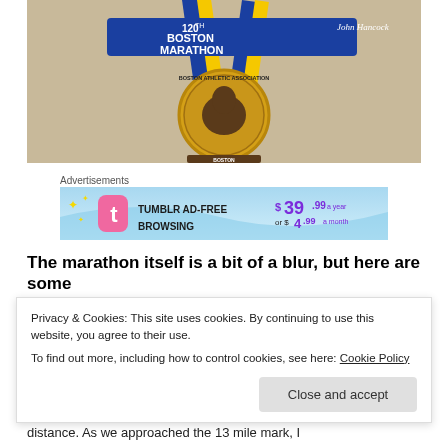[Figure (photo): 120th Boston Marathon medal with blue and yellow ribbon. The medal shows the Boston Athletic Association unicorn logo and text '120th Boston Marathon' and 'John Hancock' on the ribbon.]
Advertisements
[Figure (screenshot): Tumblr Ad-Free Browsing advertisement banner showing '$39.99 a year or $4.99 a month' pricing with Tumblr logo.]
The marathon itself is a bit of a blur, but here are some highlights:
Privacy & Cookies: This site uses cookies. By continuing to use this website, you agree to their use.
To find out more, including how to control cookies, see here: Cookie Policy
distance. As we approached the 13 mile mark, I